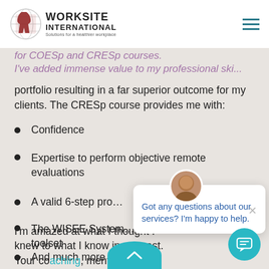Worksite International — Solutions for a healthier workplace
for COESp and CRESp courses. I've added immense value to my professional skills portfolio resulting in a far superior outcome for my clients. The CRESp course provides me with:
Confidence
Expertise to perform objective remote evaluations
A valid 6-step pro…
The WISEE System… toolset
And much more
I'm amazed at what I thought I knew to what I know in contrast. Your coaching, mentorship, and